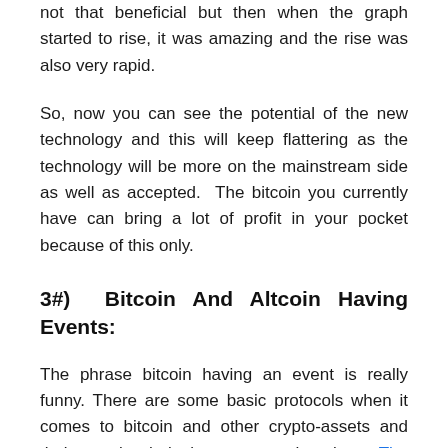not that beneficial but then when the graph started to rise, it was amazing and the rise was also very rapid.
So, now you can see the potential of the new technology and this will keep flattering as the technology will be more on the mainstream side as well as accepted.  The bitcoin you currently have can bring a lot of profit in your pocket because of this only.
3#)  Bitcoin And Altcoin Having Events:
The phrase bitcoin having an event is really funny. There are some basic protocols when it comes to bitcoin and other crypto-assets and their supply chain is pretty much unique. The supply of bitcoin